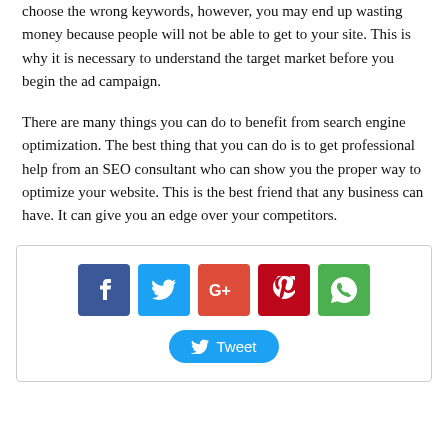choose the wrong keywords, however, you may end up wasting money because people will not be able to get to your site. This is why it is necessary to understand the target market before you begin the ad campaign.
There are many things you can do to benefit from search engine optimization. The best thing that you can do is to get professional help from an SEO consultant who can show you the proper way to optimize your website. This is the best friend that any business can have. It can give you an edge over your competitors.
[Figure (infographic): Social media share buttons: Facebook (blue), Twitter (light blue), Google+ (red-orange), Pinterest (dark red), WhatsApp (green), and a Tweet button below.]